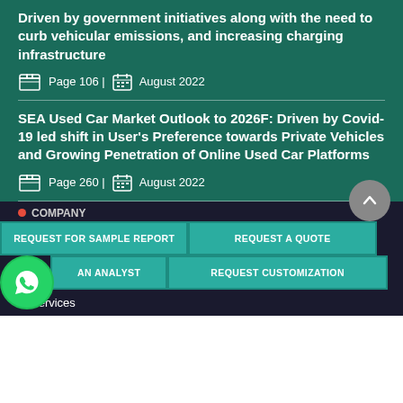Driven by government initiatives along with the need to curb vehicular emissions, and increasing charging infrastructure
Page 106 | August 2022
SEA Used Car Market Outlook to 2026F: Driven by Covid-19 led shift in User's Preference towards Private Vehicles and Growing Penetration of Online Used Car Platforms
Page 260 | August 2022
REQUEST FOR SAMPLE REPORT
REQUEST A QUOTE
AN ANALYST
REQUEST CUSTOMIZATION
Services